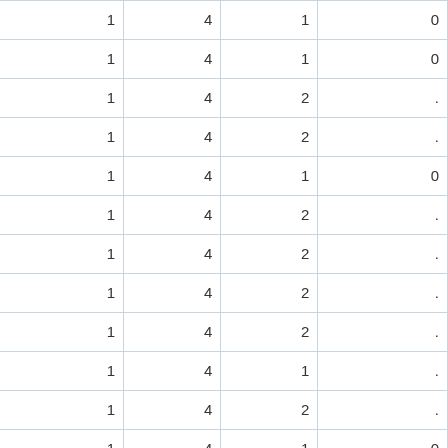| 289 | 55 | 1 | 4 | 1 | 0 |
| 290 | 49 | 1 | 4 | 1 | 0 |
| 291 | 25 | 1 | 4 | 2 | . |
| 292 | 25 | 1 | 4 | 2 | . |
| 294 | 27 | 1 | 4 | 1 | 0 |
| 295 | 21 | 1 | 4 | 2 | . |
| 296 | 22 | 1 | 4 | 2 | . |
| 297 | 38 | 1 | 4 | 2 | . |
| 298 | 19 | 1 | 4 | 2 | . |
| 302 | 22 | 1 | 4 | 1 | . |
| 303 | 29 | 1 | 4 | 2 | . |
| 304 | 24 | 1 | 4 | 1 | 0 |
| 305 | 27 | 1 | 4 | 2 | . |
| 306 | 24 | 1 | 4 | 1 | . |
| 307 | 20 | 1 | 4 | 2 | . |
| 308 | 28 | 1 | 4 | 1 | 0 |